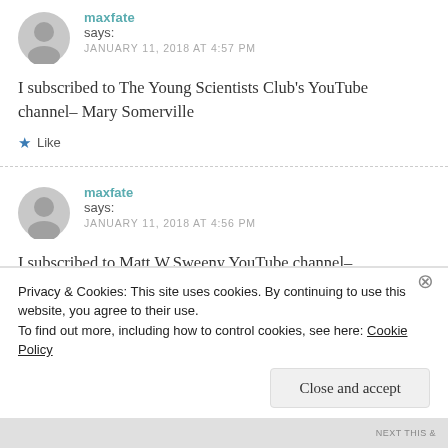maxfate says: JANUARY 11, 2018 AT 4:57 PM
I subscribed to The Young Scientists Club's YouTube channel– Mary Somerville
★ Like
maxfate says: JANUARY 11, 2018 AT 4:56 PM
I subscribed to Matt.W.Sweeny YouTube channel–
Privacy & Cookies: This site uses cookies. By continuing to use this website, you agree to their use.
To find out more, including how to control cookies, see here: Cookie Policy
Close and accept